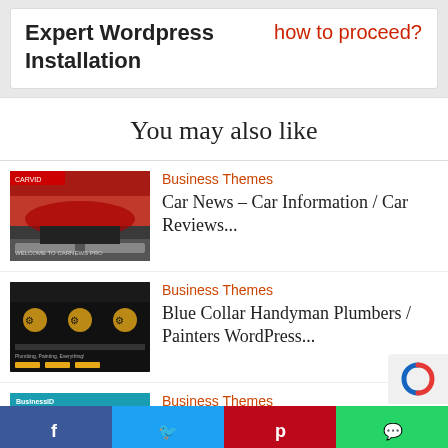Expert Wordpress Installation   how to proceed?
You may also like
Business Themes
Car News – Car Information / Car Reviews...
[Figure (screenshot): Screenshot of a car news WordPress theme with a red sports car]
Business Themes
Blue Collar Handyman Plumbers / Painters WordPress...
[Figure (screenshot): Screenshot of a dark-themed handyman WordPress theme]
Business Themes
BusinessID Responsive
[Figure (screenshot): Screenshot of a teal BusinessID responsive WordPress theme]